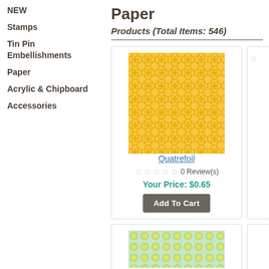NEW
Stamps
Tin Pin Embellishments
Paper
Acrylic & Chipboard
Accessories
Paper
Products (Total Items: 546)
[Figure (photo): Quatrefoil patterned scrapbook paper in yellow/gold with repeating quatrefoil design]
Quatrefoil
0 Review(s)
Your Price: $0.65
Add To Cart
[Figure (photo): Green and yellow polka dot / circular patterned scrapbook paper, partially visible]